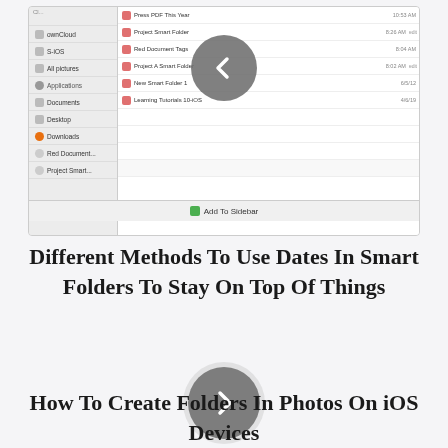[Figure (screenshot): macOS Finder window screenshot showing a file manager sidebar and file listing with a left navigation arrow overlay]
Different Methods To Use Dates In Smart Folders To Stay On Top Of Things
[Figure (other): Gray circular navigation button with right-pointing arrow (next button)]
How To Create Folders In Photos On iOS Devices